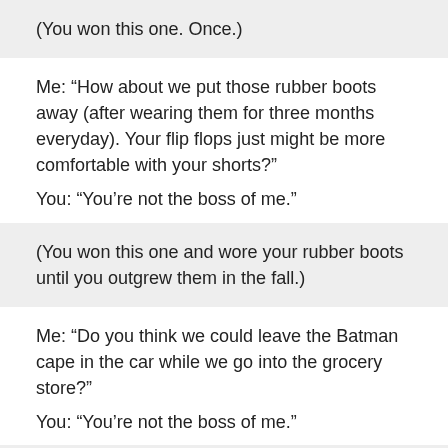(You won this one. Once.)
Me: “How about we put those rubber boots away (after wearing them for three months everyday). Your flip flops just might be more comfortable with your shorts?”
You: “You’re not the boss of me.”
(You won this one and wore your rubber boots until you outgrew them in the fall.)
Me: “Do you think we could leave the Batman cape in the car while we go into the grocery store?”
You: “You’re not the boss of me.”